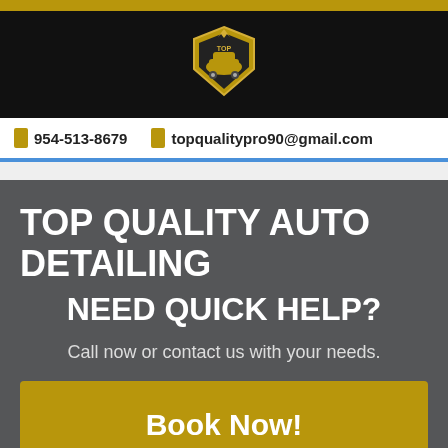Top Quality Auto Detailing logo
954-513-8679  topqualitypro90@gmail.com
TOP QUALITY AUTO DETAILING
NEED QUICK HELP?
Call now or contact us with your needs.
Book Now!